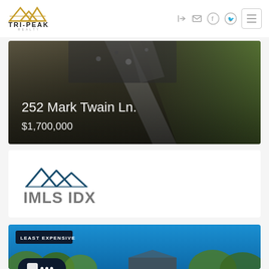[Figure (logo): Tri-Peak Realty logo with golden mountain peaks above company name]
[Figure (photo): Aerial drone photo of a property lot with roads and green fields, showing 252 Mark Twain Ln. listed at $1,700,000]
252 Mark Twain Ln.
$1,700,000
[Figure (logo): IMLS IDX logo with teal mountain peaks above text IMLS IDX]
[Figure (photo): Blue sky exterior photo of a property with trees, labeled LEAST EXPENSIVE badge]
LEAST EXPENSIVE